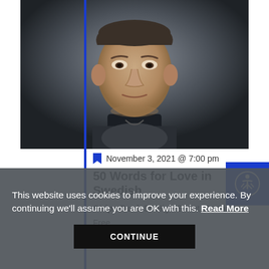[Figure (photo): Cropped portrait photo of a middle-aged man from chin to forehead, wearing a dark jacket, dark background]
November 3, 2021 @ 7:00 pm
50 Words for Love in Swedish
Stripy Duck 35 High Street, Bruton
Free
THU 11
[Figure (photo): Book cover showing the word BLOOD in large red letters on a light beige/cream background]
This website uses cookies to improve your experience. By continuing we'll assume you are OK with this. Read More
CONTINUE